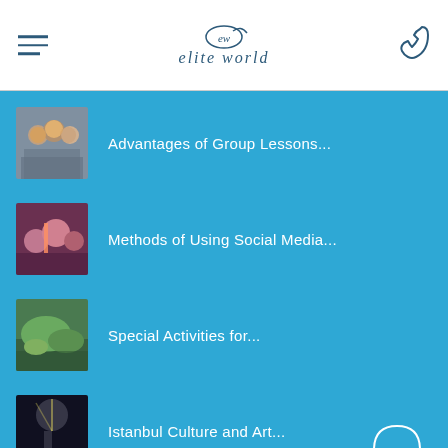[Figure (logo): Elite World hotel logo with 'ew' monogram and italic 'elite world' text in navy blue]
Advantages of Group Lessons...
Methods of Using Social Media...
Special Activities for...
Istanbul Culture and Art...
How about a summer vacation in...